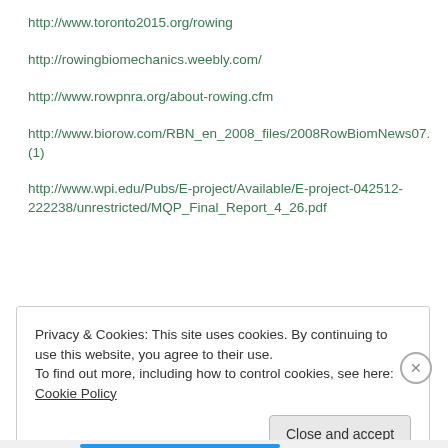http://www.toronto2015.org/rowing
http://rowingbiomechanics.weebly.com/
http://www.rowpnra.org/about-rowing.cfm
http://www.biorow.com/RBN_en_2008_files/2008RowBiomNews07.
(1)
http://www.wpi.edu/Pubs/E-project/Available/E-project-042512-222238/unrestricted/MQP_Final_Report_4_26.pdf
Privacy & Cookies: This site uses cookies. By continuing to use this website, you agree to their use.
To find out more, including how to control cookies, see here: Cookie Policy
Close and accept